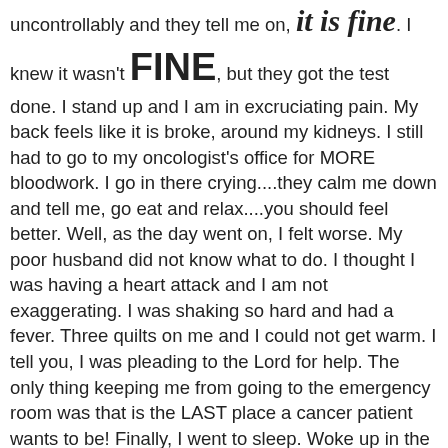uncontrollably and they tell me on, it is fine. I knew it wasn't FINE, but they got the test done. I stand up and I am in excruciating pain. My back feels like it is broke, around my kidneys. I still had to go to my oncologist's office for MORE bloodwork. I go in there crying....they calm me down and tell me, go eat and relax....you should feel better. Well, as the day went on, I felt worse. My poor husband did not know what to do. I thought I was having a heart attack and I am not exaggerating. I was shaking so hard and had a fever. Three quilts on me and I could not get warm. I tell you, I was pleading to the Lord for help. The only thing keeping me from going to the emergency room was that is the LAST place a cancer patient wants to be! Finally, I went to sleep. Woke up in the morning and I was fine. Well, I called the doctor's office and told them what happened....they said I had an allergic reaction. So now, I will have to be premedicated before the iodine. Man.....no kidding! The picture is of my living room tree. I just love this tree. Same every year...but it reminds me of snow in Michigan. Bentley...well, he is wondering where his present is. Actually, I did finish Christmas shopping. Yeah! Now I can